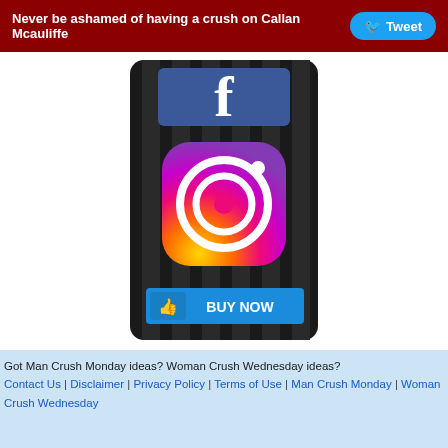Never be ashamed of having a crush on Callan Mcauliffe  Tweet
[Figure (illustration): Dark smartphone screen showing a Facebook logo at top and an Instagram logo in the center, with a blue 'BUY NOW' button with a thumbs-up icon at the bottom.]
Got Man Crush Monday ideas? Woman Crush Wednesday ideas? Contact Us | Disclaimer | Privacy Policy | Terms of Use | Man Crush Monday | Woman Crush Wednesday